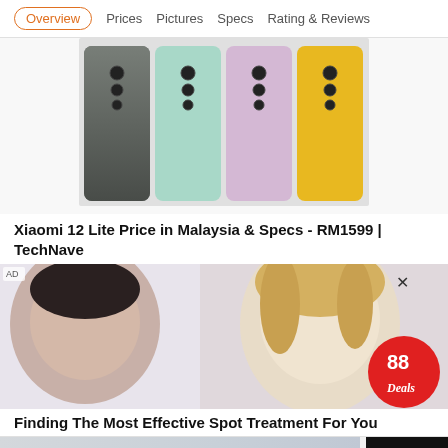Overview  Prices  Pictures  Specs  Rating & Reviews
[Figure (photo): Xiaomi 12 Lite smartphones in multiple colors: dark gray, mint green, light pink, and yellow, showing triple-camera arrays on back]
Xiaomi 12 Lite Price in Malaysia & Specs - RM1599 | TechNave
[Figure (photo): Advertisement showing two Asian women, with 88deals logo badge in bottom right corner and X close button]
Finding The Most Effective Spot Treatment For You
[Figure (photo): Partial view of another product/page at bottom]
Back to Top